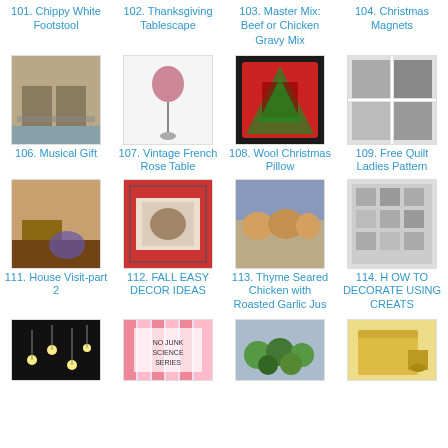101. Chippy White Footstool
102. Thanksgiving Tablescape
103. Master Mix: Beef or Chicken Gravy Mix
104. Christmas Magnets
[Figure (photo): Photo thumbnail for item 106 Musical Gift]
106. Musical Gift
[Figure (photo): Photo thumbnail for item 107 Vintage French Rose Table]
107. Vintage French Rose Table
[Figure (photo): Photo thumbnail for item 108 Wool Christmas Pillow]
108. Wool Christmas Pillow
[Figure (photo): Photo thumbnail for item 109 Free Quilt Ladies Pattern]
109. Free Quilt Ladies Pattern
[Figure (photo): Photo thumbnail for item 111 House Visit-part 2]
111. House Visit-part 2
[Figure (photo): Photo thumbnail for item 112 FALL EASY DECOR IDEAS]
112. FALL EASY DECOR IDEAS
[Figure (photo): Photo thumbnail for item 113 Thyme Seared Chicken with Roasted Garlic Jus]
113. Thyme Seared Chicken with Roasted Garlic Jus
[Figure (photo): Photo thumbnail for item 114 HOW TO DECORATE USING CREATS]
114. H OW TO DECORATE USING CREATS
[Figure (photo): Photo thumbnail row 4 col 1 dark lights]
[Figure (photo): Photo thumbnail row 4 col 2 striped sign]
[Figure (photo): Photo thumbnail row 4 col 3 green food]
[Figure (photo): Photo thumbnail row 4 col 4 yellow table]